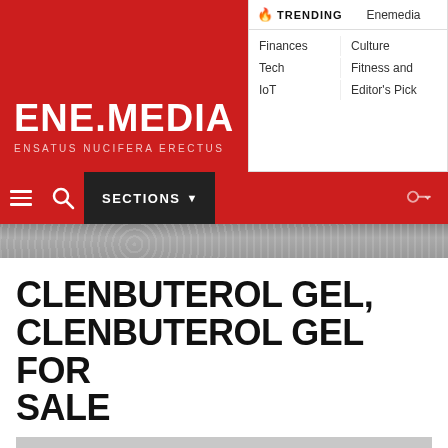ENE.MEDIA — ENSATUS NUCIFERA ERECTUS
TRENDING: Enemedia | Finances | Culture | Tech | Fitness and | IoT | Editor's Pick
SECTIONS
CLENBUTEROL GEL, CLENBUTEROL GEL FOR SALE
Public Group
a year ago
CLICK HERE
>>>
Group p